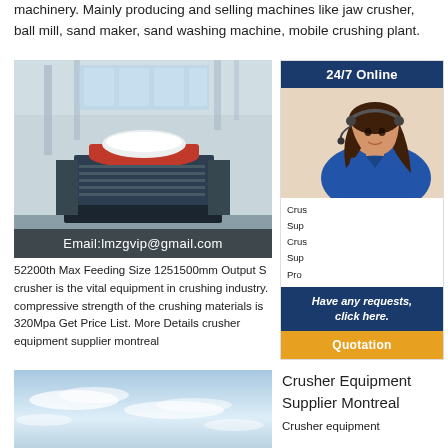machinery. Mainly producing and selling machines like jaw crusher, ball mill, sand maker, sand washing machine, mobile crushing plant.
[Figure (photo): Industrial crusher machine in a warehouse/showroom setting, with email overlay: Email:lmzgvip@gmail.com]
[Figure (infographic): 24/7 Online chat widget with a woman wearing a headset, links to crusher/supplier pages, 'Have any requests, click here.' and Quotation button]
52200th Max Feeding Size 1251500mm Output S... crusher is the vital equipment in crushing industry. compressive strength of the crushing materials is 320Mpa Get Price List. More Details crusher equipment supplier montreal
[Figure (photo): Sky with clouds — product/location photo for Crusher Equipment Supplier Montreal section]
Crusher Equipment Supplier Montreal
Crusher equipment